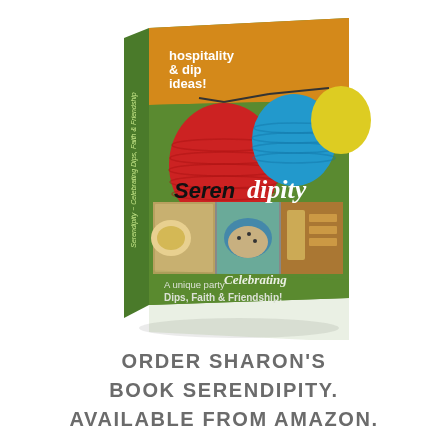[Figure (illustration): 3D book cover of 'Serendipity' by Sharon Sloan. Green cover with colorful paper lanterns (red, blue, yellow), text 'hospitality & dip ideas!', title 'Serendipity', photos of dips and food platters, subtitle 'A unique party Celebrating Dips, Faith & Friendship!', and author name 'Sharon Sloan'. Book spine visible on left side. Book reflection visible below.]
ORDER SHARON'S BOOK SERENDIPITY. AVAILABLE FROM AMAZON.